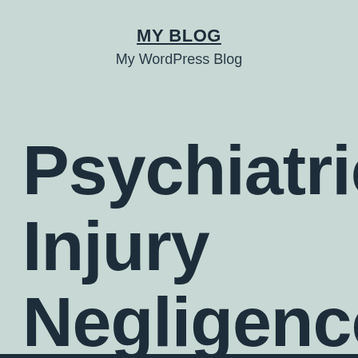MY BLOG
My WordPress Blog
Psychiatric Injury Negligence